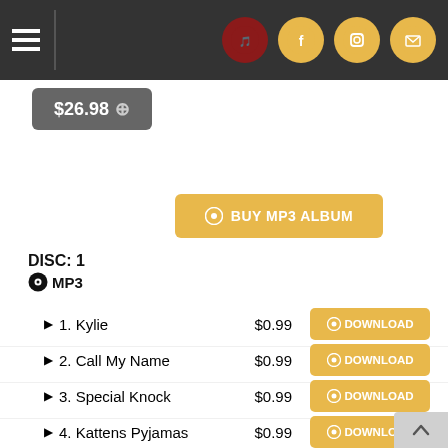$26.98
BUY MP3 ALBUM
DISC: 1
MP3
1. Kylie  $0.99  DOWNLOAD
2. Call My Name  $0.99  DOWNLOAD
3. Special Knock  $0.99  DOWNLOAD
4. Kattens Pyjamas  $0.99  DOWNLOAD
5. Troll-Holk  $0.99  DOWNLOAD